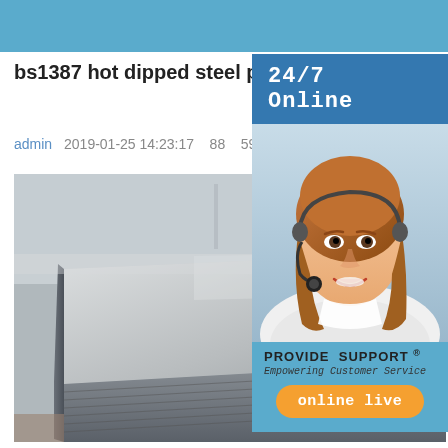bs1387 hot dipped steel pipe with socket and thread
admin   2019-01-25 14:23:17   88   59 Comment
[Figure (photo): Stack of flat steel plates/sheets photographed at an angle, showing grey metallic surfaces stacked in a warehouse or industrial setting]
[Figure (photo): Customer service sidebar widget: 24/7 Online banner, photo of smiling woman with headset, PROVIDE SUPPORT Empowering Customer Service text, orange online live button]